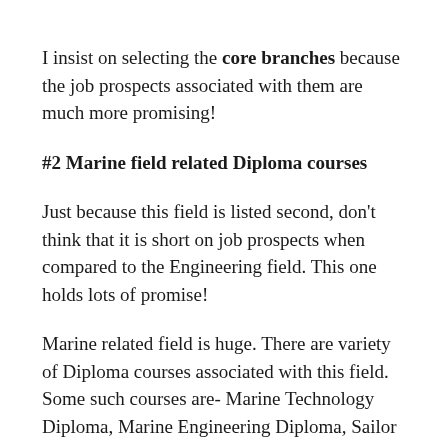I insist on selecting the core branches because the job prospects associated with them are much more promising!
#2 Marine field related Diploma courses
Just because this field is listed second, don't think that it is short on job prospects when compared to the Engineering field. This one holds lots of promise!
Marine related field is huge. There are variety of Diploma courses associated with this field. Some such courses are- Marine Technology Diploma, Marine Engineering Diploma, Sailor Diploma courses etc.
The job involves one staying on a merchant navy ship for